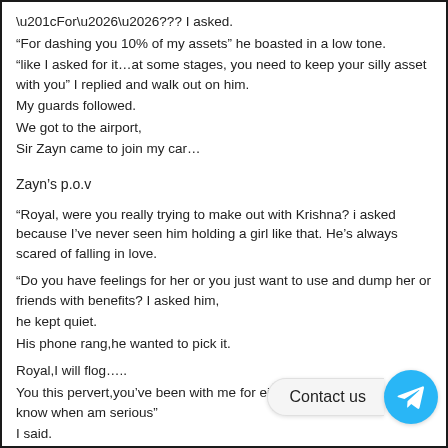“For……??? I asked.
“For dashing you 10% of my assets” he boasted in a low tone.
“like I asked for it…at some stages, you need to keep your silly asset with you” I replied and walk out on him.
My guards followed.
We got to the airport,
Sir Zayn came to join my car…
Zayn’s p.o.v
“Royal, were you really trying to make out with Krishna? i asked because I’ve never seen him holding a girl like that. He’s always scared of falling in love.
“Do you have feelings for her or you just want to use and dump her or friends with benefits? I asked him,
he kept quiet.
His phone rang,he wanted to pick it.
Royal,I will flog…..
You this pervert,you’ve been with me for eight good years,should know when am serious”
I said.